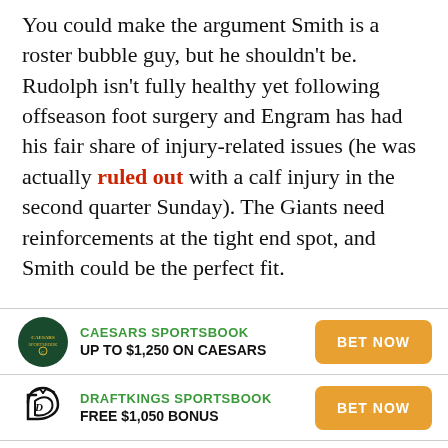You could make the argument Smith is a roster bubble guy, but he shouldn't be. Rudolph isn't fully healthy yet following offseason foot surgery and Engram has had his fair share of injury-related issues (he was actually ruled out with a calf injury in the second quarter Sunday). The Giants need reinforcements at the tight end spot, and Smith could be the perfect fit.
[Figure (infographic): Caesars Sportsbook advertisement with logo, text 'UP TO $1,250 ON CAESARS', and BET NOW button]
[Figure (infographic): DraftKings Sportsbook advertisement with logo, text 'FREE $1,050 BONUS', and BET NOW button]
[Figure (infographic): FanDuel Sportsbook advertisement with logo, text 'FREE $1,000 BET', and BET NOW button]